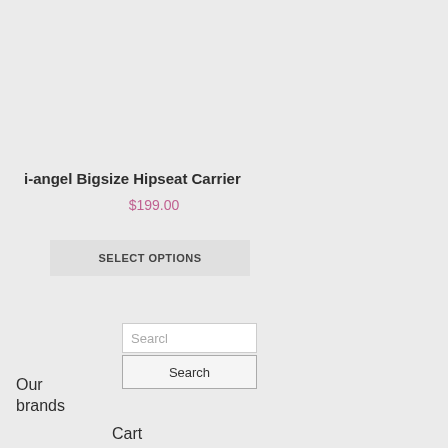i-angel Bigsize Hipseat Carrier
$199.00
SELECT OPTIONS
Search (input)
Search (button)
Our brands
Cart